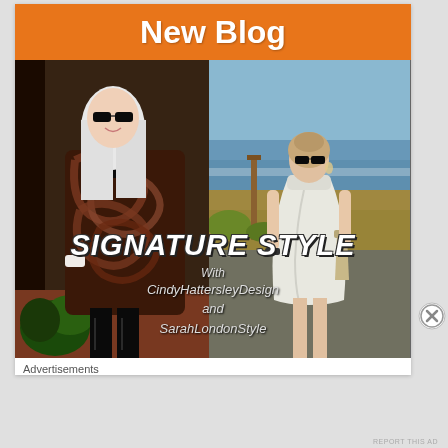New Blog
[Figure (photo): Collage of two women. Left: woman with long white hair, sunglasses, wearing a swirled patterned oversized top and black leather pants with boots, standing at a doorway. Right: woman with sunglasses wearing a white sleeveless dress, standing on a beach/coastal path. Text overlay reads 'SIGNATURE STYLE With CindyHattersleyDesign and SarahLondonStyle']
Advertisements